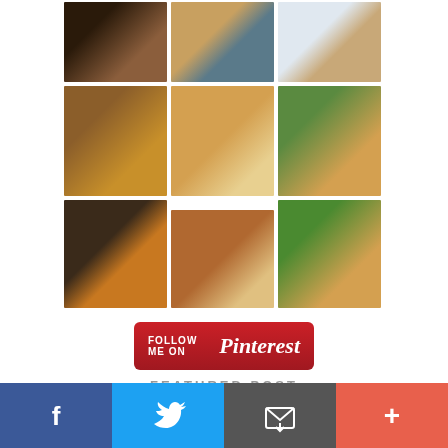[Figure (photo): 3x3 grid of corgi dog photos]
[Figure (illustration): Follow me on Pinterest button - red rounded rectangle with white text]
FEATURED POST
[Figure (photo): Partial view of a golden/tan dog - featured post thumbnail]
[Figure (infographic): Social media share bar at bottom: Facebook (blue), Twitter (light blue), Email (gray), Plus (red-orange)]